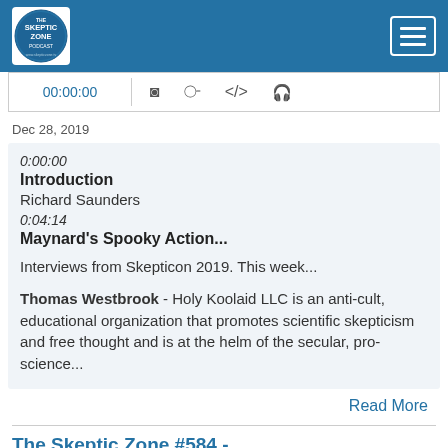[Figure (logo): The Skeptic Zone Podcast logo — circular blue badge with white text]
00:00:00
Dec 28, 2019
0:00:00
Introduction
Richard Saunders
0:04:14
Maynard's Spooky Action...
Interviews from Skepticon 2019. This week...
Thomas Westbrook - Holy Koolaid LLC is an anti-cult, educational organization that promotes scientific skepticism and free thought and is at the helm of the secular, pro-science...
Read More
The Skeptic Zone #584 -